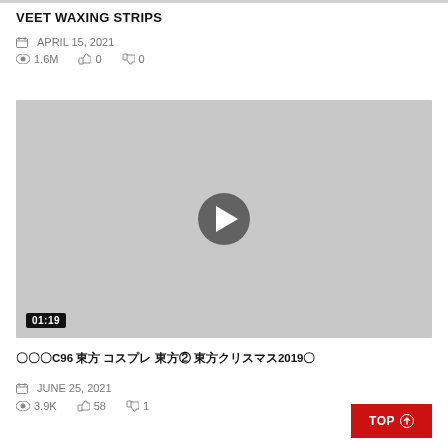VEET WAXING STRIPS
APRIL 15, 2021
1.6M  0  0
[Figure (screenshot): Video thumbnail placeholder in gray with a play button in the center and duration badge '01:19' at bottom left]
〇〇〇C96 東方 コスプレ 東方② 東方クリスマス2019〇
JUNE 25, 2021
3.9K  58  1